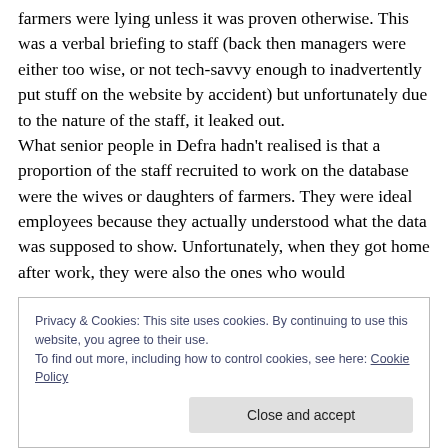farmers were lying unless it was proven otherwise. This was a verbal briefing to staff (back then managers were either too wise, or not tech-savvy enough to inadvertently put stuff on the website by accident) but unfortunately due to the nature of the staff, it leaked out. What senior people in Defra hadn't realised is that a proportion of the staff recruited to work on the database were the wives or daughters of farmers. They were ideal employees because they actually understood what the data was supposed to show. Unfortunately, when they got home after work, they were also the ones who would
Privacy & Cookies: This site uses cookies. By continuing to use this website, you agree to their use. To find out more, including how to control cookies, see here: Cookie Policy
Close and accept